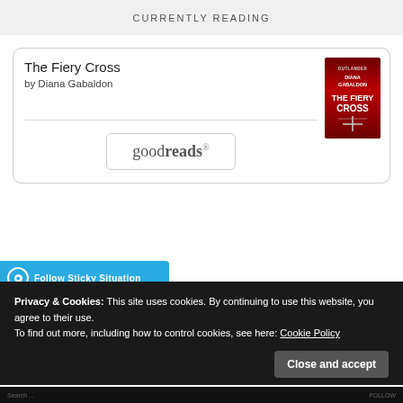CURRENTLY READING
The Fiery Cross
by Diana Gabaldon
[Figure (illustration): Book cover of The Fiery Cross by Diana Gabaldon, red background with title text]
[Figure (logo): goodreads logo button with rounded rectangle border]
Follow Sticky Situation
Privacy & Cookies: This site uses cookies. By continuing to use this website, you agree to their use.
To find out more, including how to control cookies, see here: Cookie Policy
Close and accept